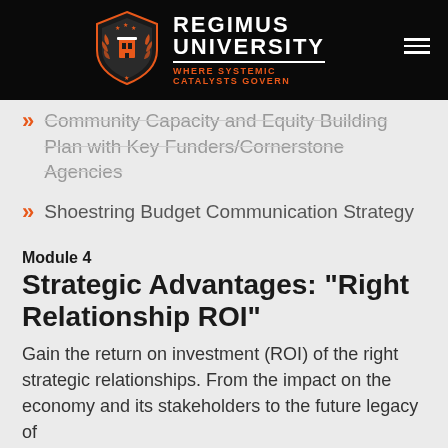REGIMUS UNIVERSITY — WHERE SYSTEMIC CATALYSTS GOVERN
Community Capacity and Equity Building Plan with Key Funders/Cornerstone Agencies
Shoestring Budget Communication Strategy
Module 4
Strategic Advantages: "Right Relationship ROI"
Gain the return on investment (ROI) of the right strategic relationships. From the impact on the economy and its stakeholders to the future legacy of